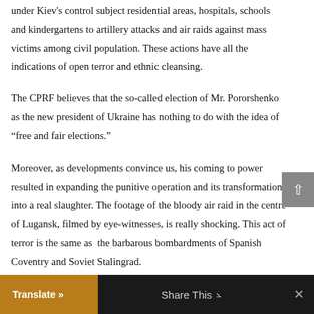under Kiev's control subject residential areas, hospitals, schools and kindergartens to artillery attacks and air raids against mass victims among civil population. These actions have all the indications of open terror and ethnic cleansing.
The CPRF believes that the so-called election of Mr. Pororshenko as the new president of Ukraine has nothing to do with the idea of “free and fair elections.”
Moreover, as developments convince us, his coming to power resulted in expanding the punitive operation and its transformation into a real slaughter. The footage of the bloody air raid in the centre of Lugansk, filmed by eye-witnesses, is really shocking. This act of terror is the same as  the barbarous bombardments of Spanish Coventry and Soviet Stalingrad.
Translate » | Share This | ×